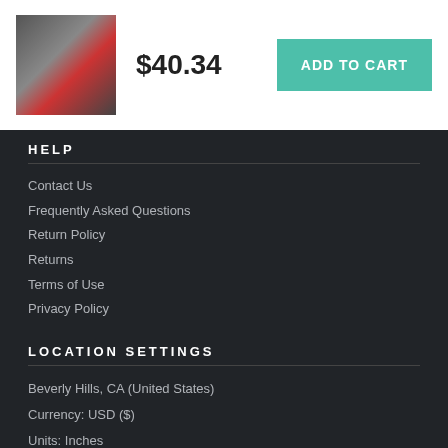[Figure (photo): Product image showing a basketball game scene with a player in red uniform]
$40.34
ADD TO CART
HELP
Contact Us
Frequently Asked Questions
Return Policy
Returns
Terms of Use
Privacy Policy
LOCATION SETTINGS
Beverly Hills, CA (United States)
Currency: USD ($)
Units: Inches
STAY CONNECTED
Sign up for our newsletter for exclusive deals, discount codes, and more.
[Figure (other): Social media icons: Facebook, Twitter, Instagram, Pinterest, YouTube]